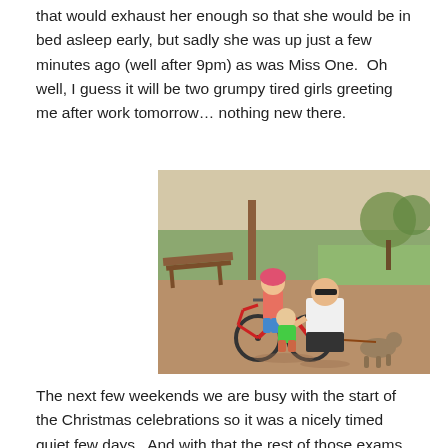that would exhaust her enough so that she would be in bed asleep early, but sadly she was up just a few minutes ago (well after 9pm) as was Miss One.  Oh well, I guess it will be two grumpy tired girls greeting me after work tomorrow… nothing new there.
[Figure (photo): A man crouching with two young children (one on a tricycle wearing a pink helmet, one in a green shirt) and a small dog on a leash, in an outdoor park setting with trees and a picnic bench in the background.]
The next few weekends we are busy with the start of the Christmas celebrations so it was a nicely timed quiet few days.  And with that the rest of those exams are calling me